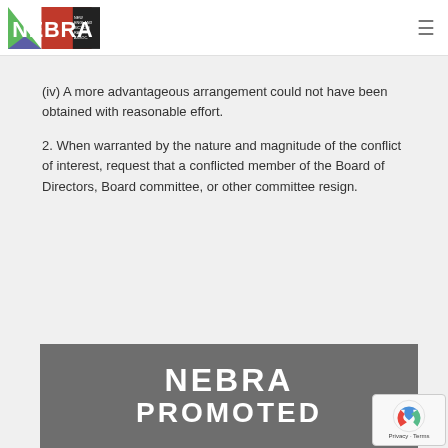NEBRA — New England Bicycle Racing Association
(iv) A more advantageous arrangement could not have been obtained with reasonable effort.
2. When warranted by the nature and magnitude of the conflict of interest, request that a conflicted member of the Board of Directors, Board committee, or other committee resign.
[Figure (logo): NEBRA banner with 'NEBRA PROMOTED' text in white on gray background]
[Figure (other): reCAPTCHA badge with Google logo and Privacy/Terms links]